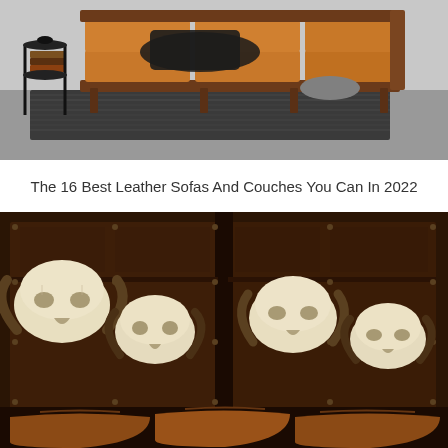[Figure (photo): Interior room scene showing a tan/cognac leather sofa with wooden frame, black metal side table with circular shelves, stacked books, dark throw blanket, and textured black and white area rug on a gray floor]
The 16 Best Leather Sofas And Couches You Can In 2022
[Figure (photo): Dark rustic wooden wall/cabinet with metal studs and rivets displaying four white longhorn bull skulls mounted at different heights, with cognac brown leather sofa cushions visible at the bottom]